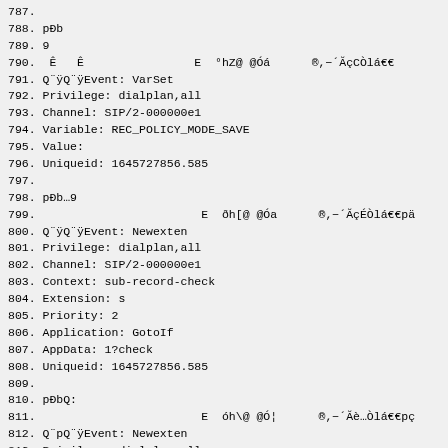787.
788. pÐb
789. 9
790.  Ê   Ê                E  °hZ@ @Óá      ®,−´ĂçCÒlá€€
791. Q¨ÿQ¨ÿEvent: VarSet
792. Privilege: dialplan,all
793. Channel: SIP/2-000000e1
794. Variable: REC_POLICY_MODE_SAVE
795. Value:
796. Uniqueid: 1645727856.585
797.
798. pÐb…9
799.                        E  ðh[@ @Óa      ®,−´ĂçÉÒlá€€pä
800. Q¨ÿQ¨ÿEvent: Newexten
801. Privilege: dialplan,all
802. Channel: SIP/2-000000e1
803. Context: sub-record-check
804. Extension: s
805. Priority: 2
806. Application: GotoIf
807. AppData: 1?check
808. Uniqueid: 1645727856.585
809.
810. pÐbQ:
811.                        E  óh\@ @Ó¦      ®,−´Ăè…Òlá€€pç
812. Q¨pQ¨ÿEvent: Newexten
813. Privilege: dialplan,all
814. Channel: SIP/2-000000e1
815. Context: sub-record-check